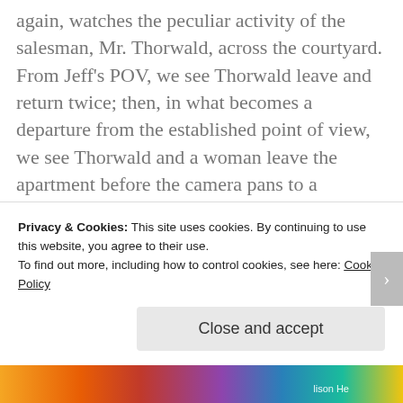again, watches the peculiar activity of the salesman, Mr. Thorwald, across the courtyard. From Jeff's POV, we see Thorwald leave and return twice; then, in what becomes a departure from the established point of view, we see Thorwald and a woman leave the apartment before the camera pans to a sleeping and oblivious Jeff. This momentary POV shift is crucial to the entire narrative, and it is the first key detail that makes viewers just as much voyeurs as Jeff has become. Through dramatic irony, we are now even more helpless to communicate concerns and
Privacy & Cookies: This site uses cookies. By continuing to use this website, you agree to their use.
To find out more, including how to control cookies, see here: Cookie Policy
Close and accept